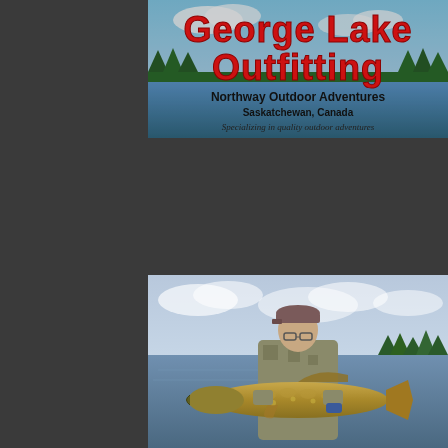[Figure (logo): George Lake Outfitting logo banner with red bold text 'George Lake Outfitting', black bold text 'Northway Outdoor Adventures', 'Saskatchewan, Canada', and italic text 'Specializing in quality outdoor adventures', set against a scenic lake and forest background]
[Figure (photo): Man on a boat on a lake holding a large Northern Pike fish. Overcast sky, conifer trees visible on the right shoreline.]